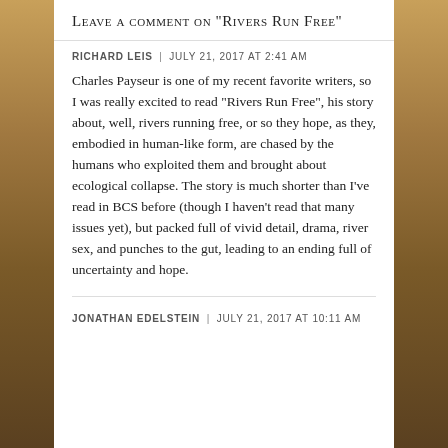Leave a comment on "Rivers Run Free"
RICHARD LEIS | JULY 21, 2017 AT 2:41 AM
Charles Payseur is one of my recent favorite writers, so I was really excited to read "Rivers Run Free", his story about, well, rivers running free, or so they hope, as they, embodied in human-like form, are chased by the humans who exploited them and brought about ecological collapse. The story is much shorter than I've read in BCS before (though I haven't read that many issues yet), but packed full of vivid detail, drama, river sex, and punches to the gut, leading to an ending full of uncertainty and hope.
JONATHAN EDELSTEIN | JULY 21, 2017 AT 10:11 AM